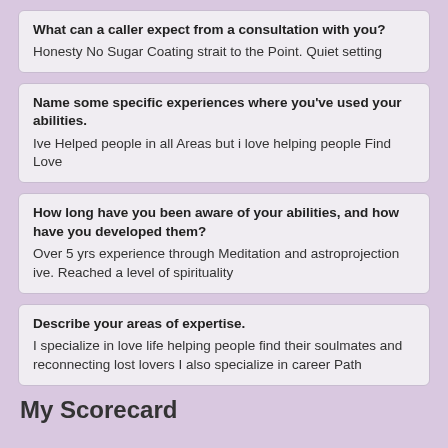What can a caller expect from a consultation with you?
Honesty No Sugar Coating strait to the Point. Quiet setting
Name some specific experiences where you've used your abilities.
Ive Helped people in all Areas but i love helping people Find Love
How long have you been aware of your abilities, and how have you developed them?
Over 5 yrs experience through Meditation and astroprojection ive. Reached a level of spirituality
Describe your areas of expertise.
I specialize in love life helping people find their soulmates and reconnecting lost lovers I also specialize in career Path
My Scorecard